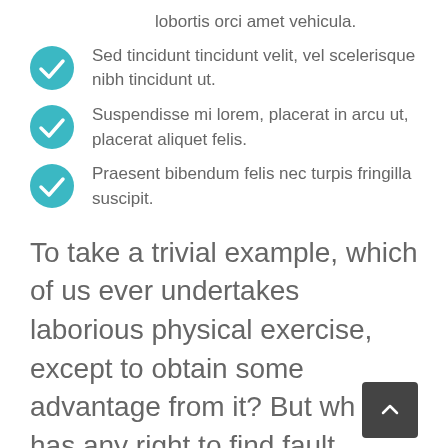lobortis orci amet vehicula.
Sed tincidunt tincidunt velit, vel scelerisque nibh tincidunt ut.
Suspendisse mi lorem, placerat in arcu ut, placerat aliquet felis.
Praesent bibendum felis nec turpis fringilla suscipit.
To take a trivial example, which of us ever undertakes laborious physical exercise, except to obtain some advantage from it? But who has any right to find fault with a man who chooses to enjoy a